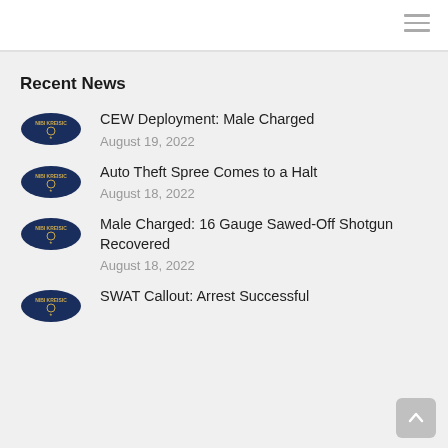Recent News
CEW Deployment: Male Charged
August 19, 2022
Auto Theft Spree Comes to a Halt
August 18, 2022
Male Charged: 16 Gauge Sawed-Off Shotgun Recovered
August 18, 2022
SWAT Callout: Arrest Successful